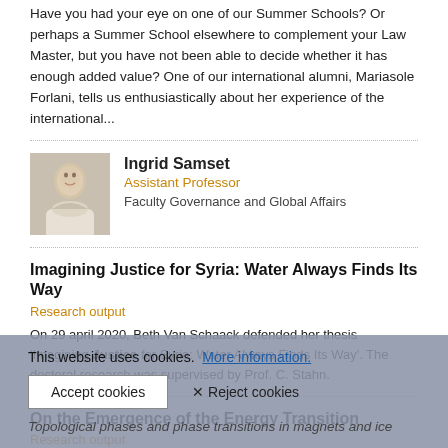Have you had your eye on one of our Summer Schools? Or perhaps a Summer School elsewhere to complement your Law Master, but you have not been able to decide whether it has enough added value? One of our international alumni, Mariasole Forlani, tells us enthusiastically about her experience of the international...
[Figure (photo): Headshot photo of Ingrid Samset]
Ingrid Samset
Assistant Professor
Faculty Governance and Global Affairs
Imagining Justice for Syria: Water Always Finds Its Way
Research output
On 29 april 2020, Beth Van Schaack defended her thesis 'Imagining Justice for Syria: Water Always Finds Its Way'. The doctoral research was supervised by Prof. C. Stahn.
On the Emergence of the Energy Transition
Research output
The energy system is at the heart of two of the greatest challenges of the 21st century: decreasing CO2 emissions to meet the ambitions of the Paris agreement while fulfilling the growing energy demand associated with the economic aspirations of a growing world
This website uses cookies.  More information.
Accept cookies   ✕ Reject cookies
Topological phases and phase transitions in magnets and ice